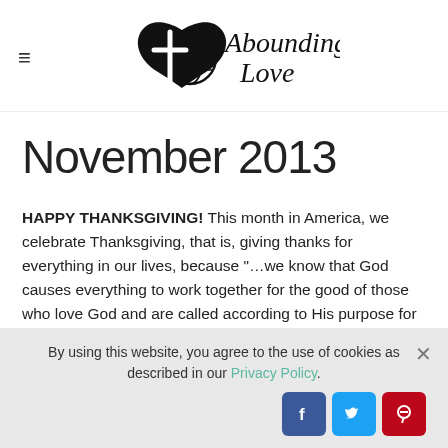Abounding Love — website header with logo
November 2013
HAPPY THANKSGIVING! This month in America, we celebrate Thanksgiving, that is, giving thanks for everything in our lives, because "…we know that God causes everything to work together for the good of those who love God and are called according to His purpose for them." 1
By using this website, you agree to the use of cookies as described in our Privacy Policy.